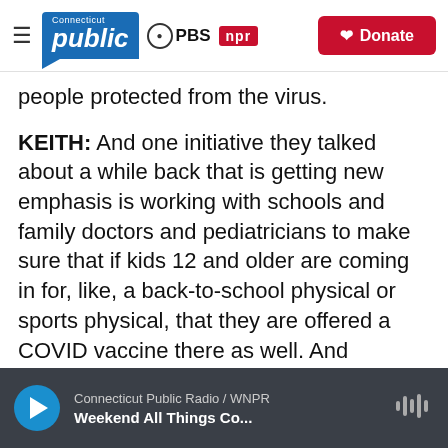Connecticut Public | PBS | NPR | Donate
people protected from the virus.
KEITH: And one initiative they talked about a while back that is getting new emphasis is working with schools and family doctors and pediatricians to make sure that if kids 12 and older are coming in for, like, a back-to-school physical or sports physical, that they are offered a COVID vaccine there as well. And eventually, they do expect the vaccines will get authorization for younger children also.
SHAPIRO: Now, on the topic of schools, some colleges are starting to mandate vaccination
Connecticut Public Radio / WNPR | Weekend All Things Co...